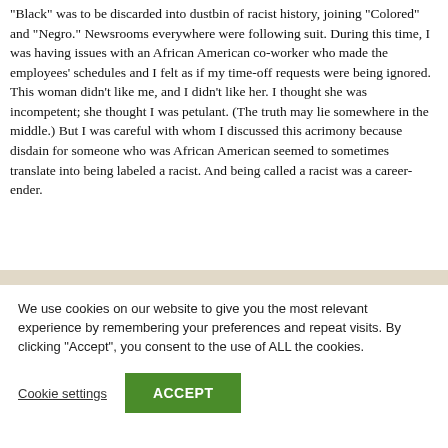“Black” was to be discarded into dustbin of racist history, joining “Colored” and “Negro.” Newsrooms everywhere were following suit. During this time, I was having issues with an African American co-worker who made the employees’ schedules and I felt as if my time-off requests were being ignored. This woman didn’t like me, and I didn’t like her. I thought she was incompetent; she thought I was petulant. (The truth may lie somewhere in the middle.) But I was careful with whom I discussed this acrimony because disdain for someone who was African American seemed to sometimes translate into being labeled a racist. And being called a racist was a career-ender.
We use cookies on our website to give you the most relevant experience by remembering your preferences and repeat visits. By clicking “Accept”, you consent to the use of ALL the cookies.
Cookie settings
ACCEPT